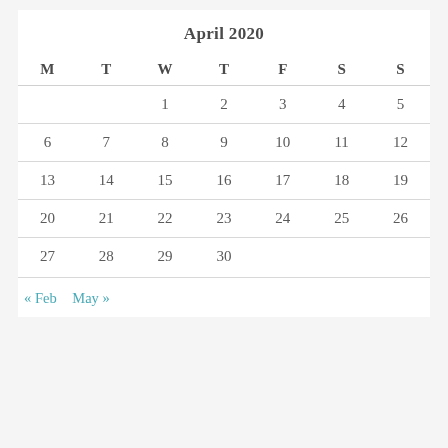April 2020
| M | T | W | T | F | S | S |
| --- | --- | --- | --- | --- | --- | --- |
|  |  | 1 | 2 | 3 | 4 | 5 |
| 6 | 7 | 8 | 9 | 10 | 11 | 12 |
| 13 | 14 | 15 | 16 | 17 | 18 | 19 |
| 20 | 21 | 22 | 23 | 24 | 25 | 26 |
| 27 | 28 | 29 | 30 |  |  |  |
« Feb   May »